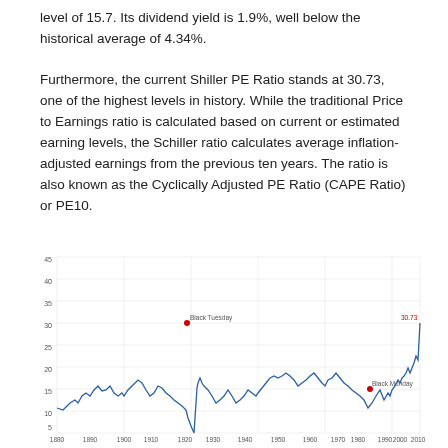level of 15.7. Its dividend yield is 1.9%, well below the historical average of 4.34%.
Furthermore, the current Shiller PE Ratio stands at 30.73, one of the highest levels in history. While the traditional Price to Earnings ratio is calculated based on current or estimated earning levels, the Schiller ratio calculates average inflation-adjusted earnings from the previous ten years. The ratio is also known as the Cyclically Adjusted PE Ratio (CAPE Ratio) or PE10.
[Figure (continuous-plot): Line chart of the Shiller PE Ratio (CAPE Ratio) from approximately 1880 to 2018. The y-axis ranges from 0 to 45. Notable annotations include 'Black Tuesday' around 1929 with a red dot marking a peak near 30, and 'Black Monday' around 1987 with a red dot marking approximately 18. The current value of 30.73 is labeled at the far right. The overall trend shows volatility with a major spike around 1999-2000 reaching near 45.]